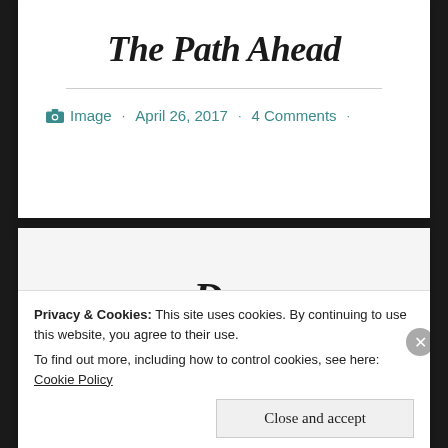The Path Ahead
Image · April 26, 2017 · 4 Comments ·
Privacy & Cookies: This site uses cookies. By continuing to use this website, you agree to their use.
To find out more, including how to control cookies, see here: Cookie Policy
Close and accept